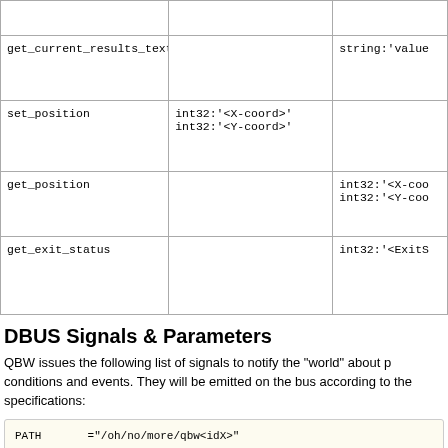|  |  |  |
| --- | --- | --- |
|  |  |  |
| get_current_results_text |  | string:'value |
| set_position | int32:'<X-coord>'
int32:'<Y-coord>' |  |
| get_position |  | int32:'<X-coo
int32:'<Y-coo |
| get_exit_status |  | int32:'<ExitS |
DBUS Signals & Parameters
QBW issues the following list of signals to notify the "world" about p conditions and events. They will be emitted on the bus according to the specifications:
PATH      ="/oh/no/more/qbw<idX>"
INTERFACE ="oh.no.more.qbw"
MEMBER    ="<signal name>" [Signal column in below list]
PARAMETERS="<parameter>" [Broadcast column in below list]
<idX> is the QBW Instance ID
| Signal | Broadcasts | Description |
| --- | --- | --- |